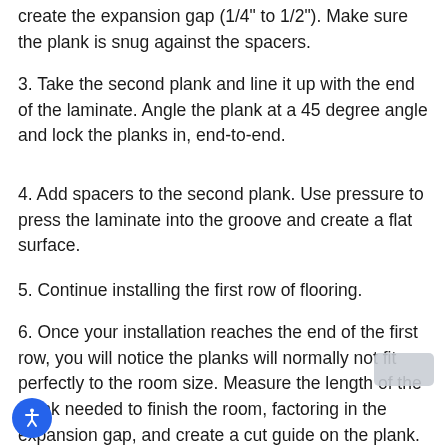create the expansion gap (1/4" to 1/2"). Make sure the plank is snug against the spacers.
3. Take the second plank and line it up with the end of the laminate. Angle the plank at a 45 degree angle and lock the planks in, end-to-end.
4. Add spacers to the second plank. Use pressure to press the laminate into the groove and create a flat surface.
5. Continue installing the first row of flooring.
6. Once your installation reaches the end of the first row, you will notice the planks will normally not fit perfectly to the room size. Measure the length of the plank needed to finish the room, factoring in the expansion gap, and create a cut guide on the plank.